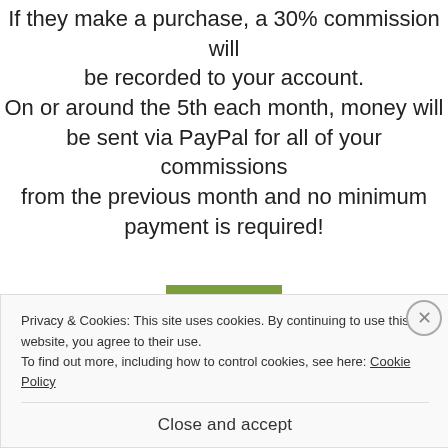If they make a purchase, a 30% commission will be recorded to your account. On or around the 5th each month, money will be sent via PayPal for all of your commissions from the previous month and no minimum payment is required!
[Figure (logo): Creative Market green logo with italic 'Creative' text and 'MARKET' in small caps below]
Privacy & Cookies: This site uses cookies. By continuing to use this website, you agree to their use. To find out more, including how to control cookies, see here: Cookie Policy
Close and accept